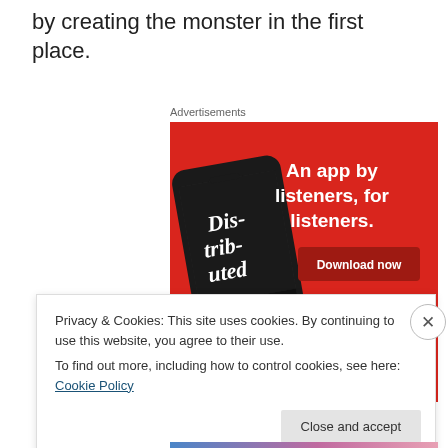by creating the monster in the first place.
Advertisements
[Figure (screenshot): Advertisement banner with red background showing a smartphone displaying a podcast app called 'Dis-trib-uted' and text 'An app by listeners, for listeners.' with a 'Download now' button.]
Privacy & Cookies: This site uses cookies. By continuing to use this website, you agree to their use.
To find out more, including how to control cookies, see here: Cookie Policy
Close and accept